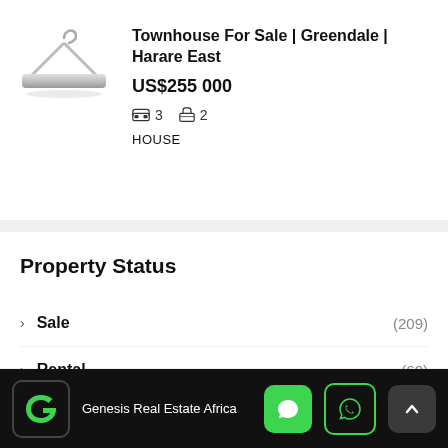[Figure (photo): Property listing image placeholder - grey gradient hanger/shelf graphic]
Townhouse For Sale | Greendale | Harare East
US$255 000
3  2
HOUSE
Property Status
Sale (209)
Rental (60)
Short Stay (4)
Genesis Real Estate Africa